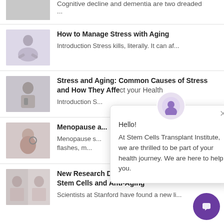[Figure (photo): Partial view of a person meditating - cropped at top]
Cognitive decline and dementia are two dreaded ...
[Figure (photo): Elderly person sitting cross-legged in yoga/meditation pose]
How to Manage Stress with Aging
Introduction Stress kills, literally. It can af...
[Figure (photo): Stressed older man holding his head]
Stress and Aging: Common Causes of Stress and How They Affect your Health
Introduction S...
[Figure (photo): Middle-aged woman with glasses looking worried]
Menopause a...
Menopause s... flashes, m...
[Figure (photo): Side-by-side aging face comparison photos]
New Research Demonstrates Link Between Stem Cells and Anti-Aging
Scientists at Stanford have found a new li...
[Figure (screenshot): Chat popup from Stem Cells Transplant Institute with message: Hello! At Stem Cells Transplant Institute, we are thrilled to be part of your health journey. We are here to help you.]